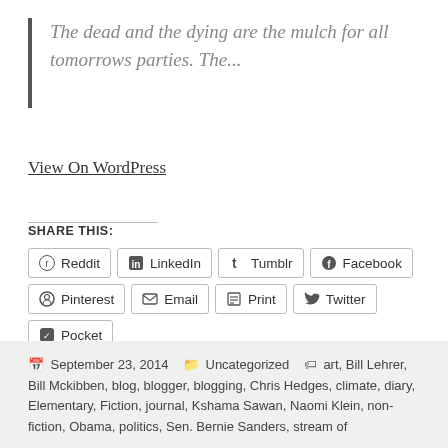The dead and the dying are the mulch for all tomorrows parties. The...
View On WordPress
SHARE THIS:
Reddit LinkedIn Tumblr Facebook Pinterest Email Print Twitter Pocket
Loading...
September 23, 2014  Uncategorized  art, Bill Lehrer, Bill Mckibben, blog, blogger, blogging, Chris Hedges, climate, diary, Elementary, Fiction, journal, Kshama Sawan, Naomi Klein, non-fiction, Obama, politics, Sen. Bernie Sanders, stream of